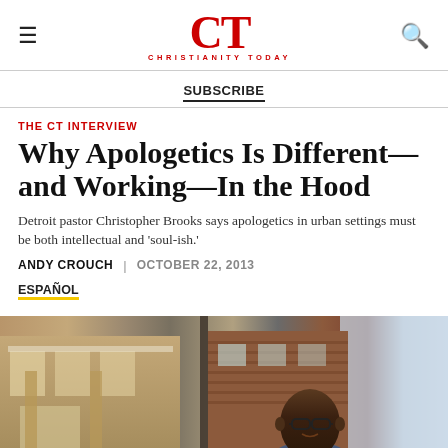CT CHRISTIANITY TODAY
SUBSCRIBE
THE CT INTERVIEW
Why Apologetics Is Different—and Working—In the Hood
Detroit pastor Christopher Brooks says apologetics in urban settings must be both intellectual and 'soul-ish.'
ANDY CROUCH | OCTOBER 22, 2013
ESPAÑOL
[Figure (photo): Photo of Christopher Brooks, a Black man wearing glasses, standing in front of urban buildings in Detroit]